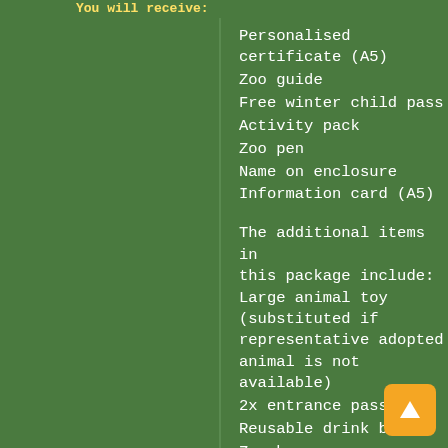You will receive:
Personalised certificate (A5)
Zoo guide
Free winter child pass
Activity pack
Zoo pen
Name on enclosure
Information card (A5)
The additional items in this package include: Large animal toy (substituted if representative adopted animal is not available)
2x entrance passes
Reusable drink bottle
Zoo bag